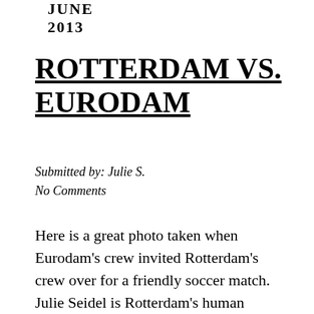JUNE 2013
ROTTERDAM VS. EURODAM
Submitted by: Julie S.
No Comments
Here is a great photo taken when Eurodam's crew invited Rotterdam's crew over for a friendly soccer match. Julie Seidel is Rotterdam's human resources manager.